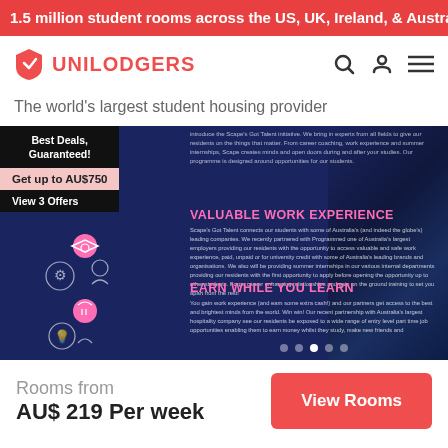1.5 million student rooms across the US, UK, Ireland, & Austral
[Figure (logo): Unilodgers logo with shield icon in red and brand name in red bold text]
The world's largest student housing provider
[Figure (screenshot): Dark blue promotional banner showing 'Best Deals, Guaranteed!' badge, 'Get up to AU$750' pink highlight, 'View 3 Offers' link, icons for work experience and earn while you learn sections, with section headings 'VALUABLE WORK EXPERIENCE' and 'EARN WHILE YOU LEARN' in pink, body text describing both programs, and dot navigation indicators at bottom]
Rooms from
AU$ 219 Per week
View Rooms